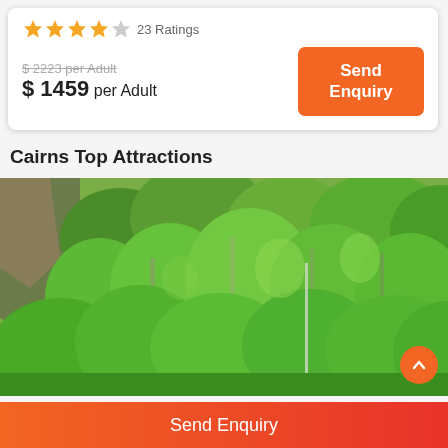23 Ratings
$ 2223 per Adult
$ 1459 per Adult
Send Enquiry
Cairns Top Attractions
[Figure (photo): Lush green rainforest trees covering a hillside, viewed from below, with dense canopy and tall eucalyptus-style trees.]
Send Enquiry